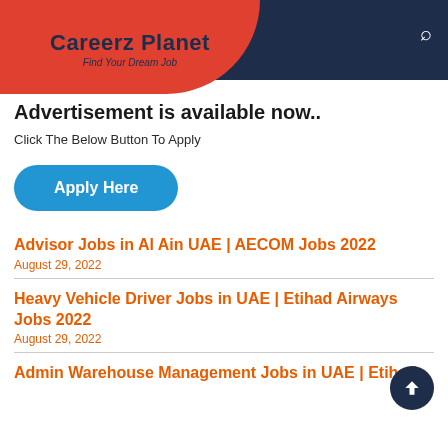Careerz Planet — Find Your Dream Job
Advertisement is available now..
Click The Below Button To Apply
[Figure (other): Blue rounded button with text 'Apply Here']
Advisor Jobs in Al Ain UAE | AECOM Jobs 2022
August 29, 2022
Heavy Vehicle Driver Jobs in UAE | Etihad Airways Jobs 2022
August 29, 2022
Admin Warehouse Management Jobs in UAE | Etihad